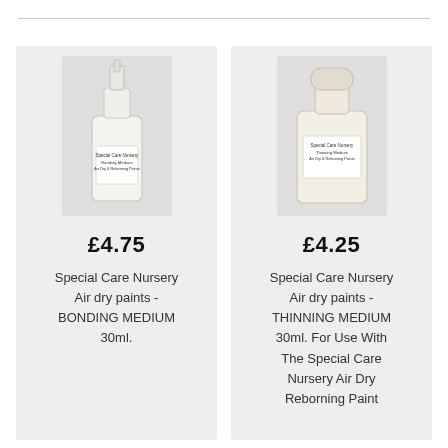[Figure (photo): Product photo of a small dropper bottle with label reading 'Special Care Nursery Bonding Medium Air Dry & Reborning Paints']
£4.75
Special Care Nursery Air dry paints - BONDING MEDIUM 30ml.
[Figure (photo): Product photo of a small flat bottle with label reading 'Special Care Nursery Thinning Medium Air Dry & Reborning Paints']
£4.25
Special Care Nursery Air dry paints - THINNING MEDIUM 30ml. For Use With The Special Care Nursery Air Dry Reborning Paint